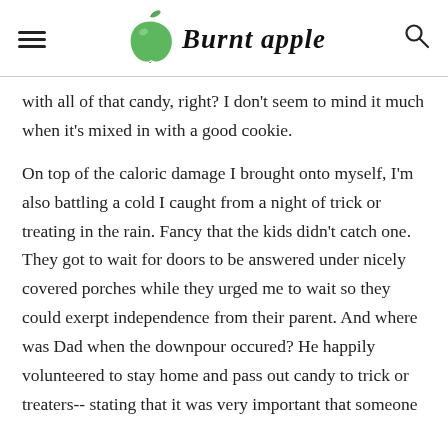Burnt apple
with all of that candy, right? I don't seem to mind it much when it's mixed in with a good cookie.
On top of the caloric damage I brought onto myself, I'm also battling a cold I caught from a night of trick or treating in the rain. Fancy that the kids didn't catch one. They got to wait for doors to be answered under nicely covered porches while they urged me to wait so they could exerpt independence from their parent. And where was Dad when the downpour occured? He happily volunteered to stay home and pass out candy to trick or treaters-- stating that it was very important that someone